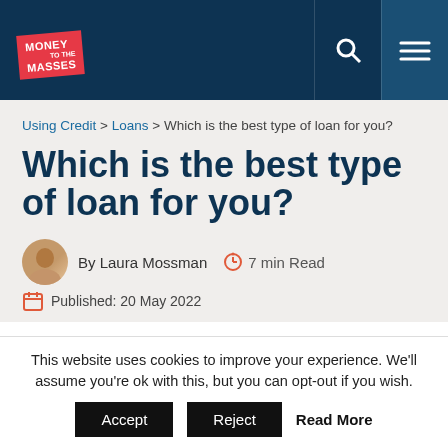Money to the Masses
Using Credit > Loans > Which is the best type of loan for you?
Which is the best type of loan for you?
By Laura Mossman  7 min Read
Published: 20 May 2022
This website uses cookies to improve your experience. We'll assume you're ok with this, but you can opt-out if you wish.